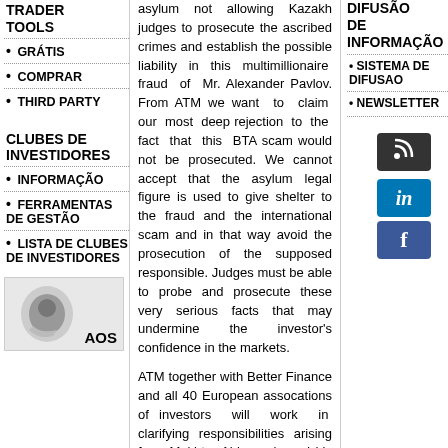TRADER TOOLS
GRÁTIS
COMPRAR
THIRD PARTY
CLUBES DE INVESTIDORES
INFORMAÇÃO
FERRAMENTAS DE GESTÃO
LISTA DE CLUBES DE INVESTIDORES
[Figure (photo): Phone/contact image with AOS label]
asylum not allowing Kazakh judges to prosecute the ascribed crimes and establish the possible liability in this multimillionaire fraud of Mr. Alexander Pavlov. From ATM we want to claim our most deep rejection to the fact that this BTA scam would not be prosecuted. We cannot accept that the asylum legal figure is used to give shelter to the fraud and the international scam and in that way avoid the prosecution of the supposed responsible. Judges must be able to probe and prosecute these very serious facts that may undermine the investor's confidence in the markets.
ATM together with Better Finance and all 40 European assocations of investors will work in clarifying responsibilities arising from Mukhtar Ablyazov's and his accomplices in any of the jurisdictions where Better Finance is active.
The investigation and prosecution of these unquestionable criminal facts is totally congruous with the respect
DIFUSÃO DE INFORMAÇÃO
SISTEMA DE DIFUSAO
NEWSLETTER
[Figure (logo): RSS feed icon]
[Figure (logo): LinkedIn icon]
[Figure (logo): Facebook icon]